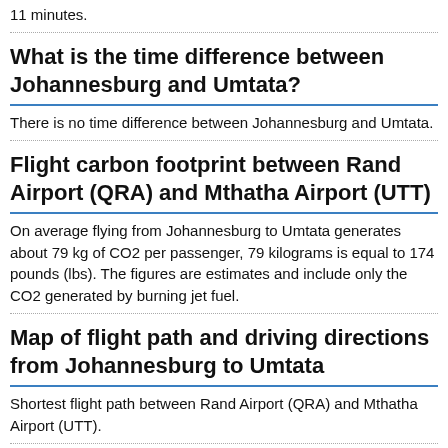11 minutes.
What is the time difference between Johannesburg and Umtata?
There is no time difference between Johannesburg and Umtata.
Flight carbon footprint between Rand Airport (QRA) and Mthatha Airport (UTT)
On average flying from Johannesburg to Umtata generates about 79 kg of CO2 per passenger, 79 kilograms is equal to 174 pounds (lbs). The figures are estimates and include only the CO2 generated by burning jet fuel.
Map of flight path and driving directions from Johannesburg to Umtata
Shortest flight path between Rand Airport (QRA) and Mthatha Airport (UTT).